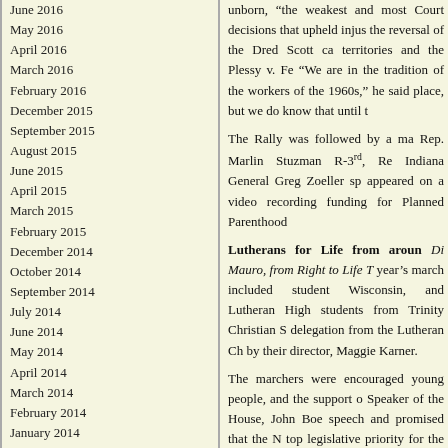June 2016
May 2016
April 2016
March 2016
February 2016
December 2015
September 2015
August 2015
June 2015
April 2015
March 2015
February 2015
December 2014
October 2014
September 2014
July 2014
June 2014
May 2014
April 2014
March 2014
February 2014
January 2014
December 2013
November 2013
August 2013
July 2013
June 2013
May 2013
April 2013
March 2013
February 2013
January 2013
May 2012
unborn, “the weakest and most Court decisions that upheld injus the reversal of the Dred Scott ca territories and the Plessy v. Fe “We are in the tradition of the workers of the 1960s,” he said place, but we do know that until t
The Rally was followed by a ma Rep. Marlin Stuzman R-3rd, Re Indiana General Greg Zoeller sp appeared on a video recording funding for Planned Parenthood
Lutherans for Life from aroun Di Mauro, from Right to Life T year’s march included student Wisconsin, and Lutheran High students from Trinity Christian S delegation from the Lutheran Ch by their director, Maggie Karner.
The marchers were encouraged young people, and the support o Speaker of the House, John Boe speech and promised that the N top legislative priority for the m marchers to do more in their ch and to bring the gospel of Jesus